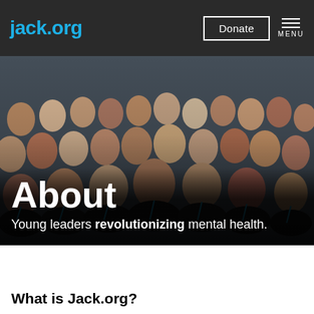jack.org
[Figure (photo): Large group photo of young people, mostly wearing black jackets with blue lanyards, smiling at the camera outdoors. Text 'About' and subtitle 'Young leaders revolutionizing mental health.' overlaid at bottom.]
About
Young leaders revolutionizing mental health.
What is Jack.org?